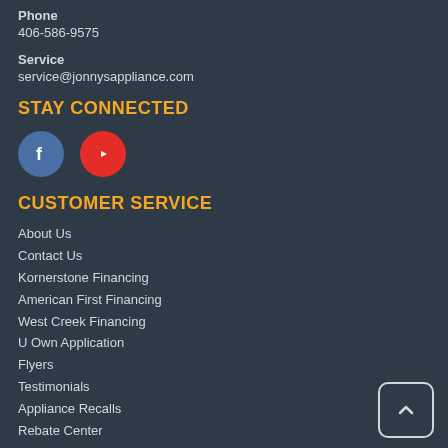Phone
406-586-9575
Service
service@jonnysappliance.com
STAY CONNECTED
[Figure (illustration): Facebook and YouTube social media icons (circles)]
CUSTOMER SERVICE
About Us
Contact Us
Kornerstone Financing
American First Financing
West Creek Financing
U Own Application
Flyers
Testimonials
Appliance Recalls
Rebate Center
Privacy Policy